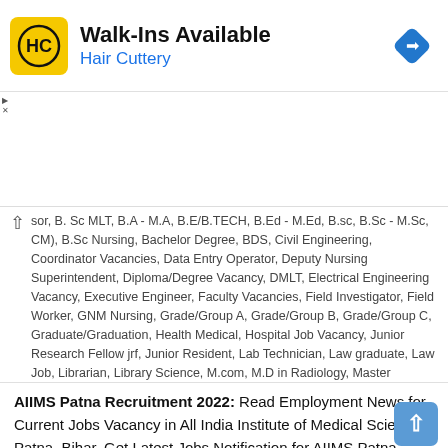[Figure (logo): Hair Cuttery advertisement banner with HC logo, 'Walk-Ins Available' heading, 'Hair Cuttery' subtitle, and a blue navigation arrow icon]
sor, B. Sc MLT, B.A - M.A, B.E/B.TECH, B.Ed - M.Ed, B.sc, B.Sc - M.Sc, CM), B.Sc Nursing, Bachelor Degree, BDS, Civil Engineering, Coordinator Vacancies, Data Entry Operator, Deputy Nursing Superintendent, Diploma/Degree Vacancy, DMLT, Electrical Engineering Vacancy, Executive Engineer, Faculty Vacancies, Field Investigator, Field Worker, GNM Nursing, Grade/Group A, Grade/Group B, Grade/Group C, Graduate/Graduation, Health Medical, Hospital Job Vacancy, Junior Research Fellow jrf, Junior Resident, Lab Technician, Law graduate, Law Job, Librarian, Library Science, M.com, M.D in Radiology, Master Degree, Matriculation/10th-pass, MBA, MBBS Vacancy, MD in Gynaecology, MD/MS/DNB, Medical Officer, Medical Vacancies, Multi Tasking Staff (MTS), Nurse Vacancy, Nursing, Nursing Officer Vacancy, Nursing Orderly, OBC Quota Vacancy, Occupational Therapist, Officer Vacancies, Patna City, PhD Vacancy, Post Graduation, Professor Vacancy, Project Assistant Vacancies, Research Assistant, Research associate vacancies, SC/ST, Scientist Vacancies, Security Officer Vacancies, Senior Residents Vacancy, Staff Nurse Vacancy, Superintendent Vacancies, Supervisor Vacancy, Technical Officer Recruitment Vacancy, Tutor Vacancies, Walk in Interview 💬 64
AIIMS Patna Recruitment 2022: Read Employment News for Current Jobs Vacancy in All India Institute of Medical Sciences Patna, Bihar. Get Latest Jobs Notification for AIIMS Patna Career Vacancies 2022. Find Upcoming Institute Jobs in AIIMS